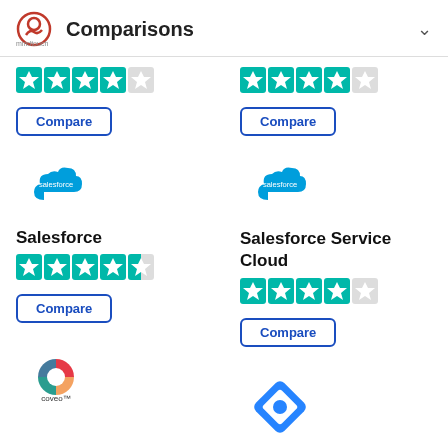Comparisons
[Figure (illustration): Partial star ratings (teal filled stars) for two products above, left column]
[Figure (illustration): Partial star ratings (teal filled stars) for two products above, right column]
Compare
Compare
[Figure (logo): Salesforce cloud logo (blue cloud with salesforce text)]
[Figure (logo): Salesforce cloud logo (blue cloud with salesforce text)]
Salesforce
Salesforce Service Cloud
[Figure (illustration): 4.5 teal star rating for Salesforce]
[Figure (illustration): 4 teal star rating for Salesforce Service Cloud]
Compare
Compare
[Figure (logo): Coveo logo (multicolor circular logo with coveo text)]
[Figure (logo): Blue diamond/rhombus logo (Jira or similar)]